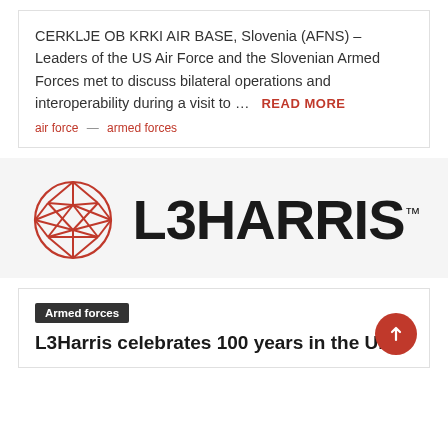CERKLJE OB KRKI AIR BASE, Slovenia (AFNS) – Leaders of the US Air Force and the Slovenian Armed Forces met to discuss bilateral operations and interoperability during a visit to … READ MORE
air force — armed forces
[Figure (logo): L3Harris logo: red geometric globe/sphere made of triangular facets, followed by bold black text 'L3HARRIS' with a trademark symbol]
Armed forces
L3Harris celebrates 100 years in the UK